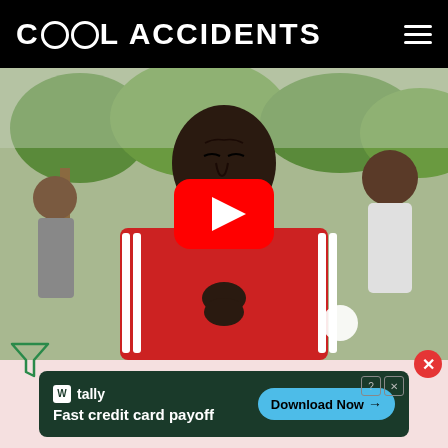Cool Accidents
[Figure (photo): A man in a red Adidas tracksuit jacket performing or rapping outdoors, with trees and other people visible in the background. A YouTube play button overlay is visible in the center of the image.]
[Figure (infographic): Advertisement banner for Tally app with text 'Fast credit card payoff' and a 'Download Now' button on a dark green background.]